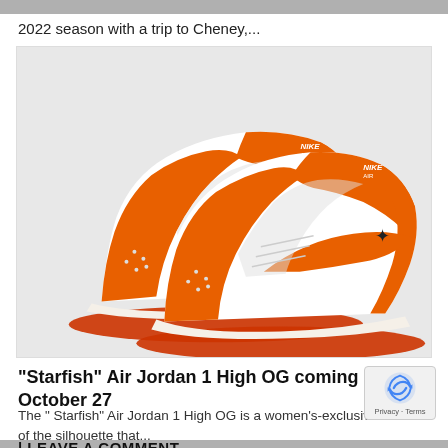2022 season with a trip to Cheney,...
[Figure (photo): Pair of Nike Air Jordan 1 High OG sneakers in orange and white colorway ('Starfish'), shown from a three-quarter angle on a light gray background.]
“Starfish” Air Jordan 1 High OG coming October 27
The “ Starfish” Air Jordan 1 High OG is a women’s-exclusive iteration of the silhouette that...
LEAVE A COMMENT